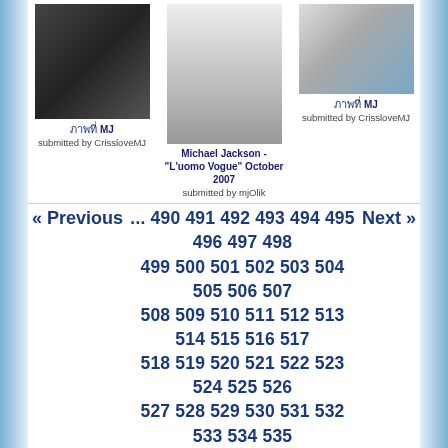[Figure (photo): Photo 1: Person performing on stage in dark outfit]
ภาพที่ MJ
submitted by CrissloveMJ
[Figure (photo): Photo 2: Michael Jackson black and white fashion photo]
Michael Jackson - "L'uomo Vogue" October 2007
submitted by mjOlik
[Figure (photo): Photo 3: Person sitting outdoors in red and white outfit]
ภาพที่ MJ
submitted by CrissloveMJ
« Previous ... 490 491 492 493 494 495 496 497 498 499 500 501 502 503 504 505 506 507 508 509 510 511 512 513 514 515 516 517 518 519 520 521 522 523 524 525 526 527 528 529 530 531 532 533 534 535 536 537 538 539 540 541 542 543 544 545 546 547 548 549 550 551 552 553 554 555 556 557 558 559 560 561 562 563 564 565 566 567 568 569 570 571 572 573 574 575 576 577 578 579 580 581 582 583 584 585 586 587 588 589 590 591 592 593 594 595 596 597 598 599 600 601 602 603 604 605 606 607 608 609 610 611 612 613 614 615 616 617 Next »